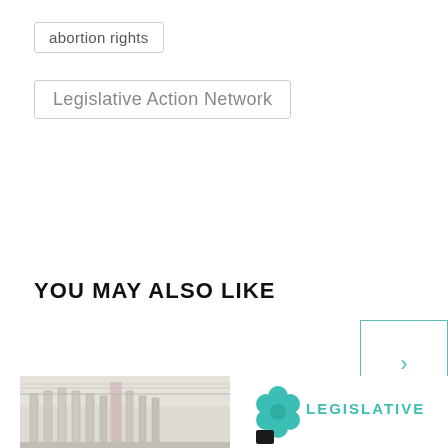abortion rights
Legislative Action Network
YOU MAY ALSO LIKE
[Figure (photo): Photo of a government capitol building interior, looking upward at ornate white columns and ceiling]
[Figure (logo): Legislative Action Network logo with teal flower graphic and teal text reading LEGISLATIVE]